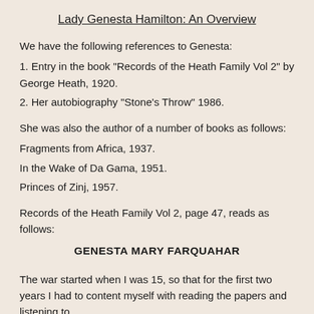Lady Genesta Hamilton: An Overview
We have the following references to Genesta:
1. Entry in the book "Records of the Heath Family Vol 2" by George Heath, 1920.
2. Her autobiography "Stone's Throw" 1986.
She was also the author of a number of books as follows:
Fragments from Africa, 1937.
In the Wake of Da Gama, 1951.
Princes of Zinj, 1957.
Records of the Heath Family Vol 2, page 47, reads as follows:
GENESTA MARY FARQUAHAR
The war started when I was 15, so that for the first two years I had to content myself with reading the papers and listening to